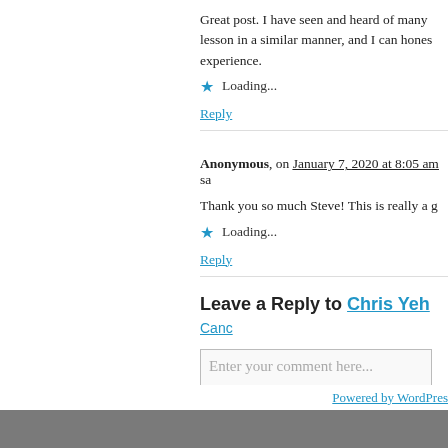Great post. I have seen and heard of many lesson in a similar manner, and I can honestly experience.
Loading...
Reply
Anonymous, on January 7, 2020 at 8:05 am sa
Thank you so much Steve! This is really a g
Loading...
Reply
Leave a Reply to Chris Yeh Canc
Enter your comment here...
Powered by WordPress